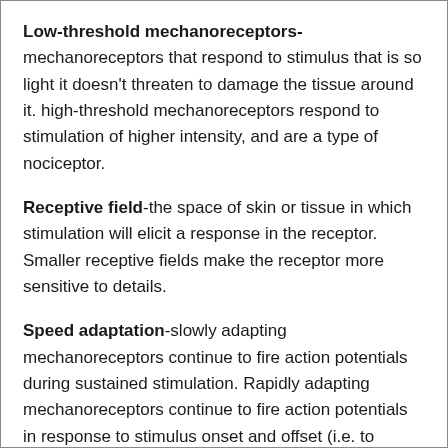Low-threshold mechanoreceptors- mechanoreceptors that respond to stimulus that is so light it doesn't threaten to damage the tissue around it. high-threshold mechanoreceptors respond to stimulation of higher intensity, and are a type of nociceptor.
Receptive field-the space of skin or tissue in which stimulation will elicit a response in the receptor. Smaller receptive fields make the receptor more sensitive to details.
Speed adaptation-slowly adapting mechanoreceptors continue to fire action potentials during sustained stimulation. Rapidly adapting mechanoreceptors continue to fire action potentials in response to stimulus onset and offset (i.e. to stimuli changes), and help detect stimulus movement on the skin.